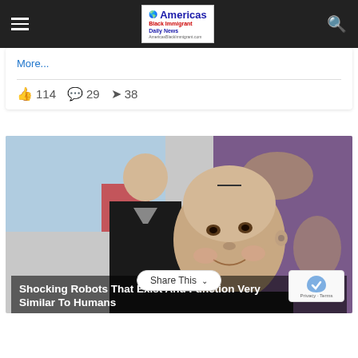Americas Black Immigrant Daily News
More...
114  29  38
[Figure (photo): A humanoid robot (Sophia) with realistic facial features standing next to a man in a dark jacket, in front of a colorful background.]
Shocking Robots That Exist And Function Very Similar To Humans